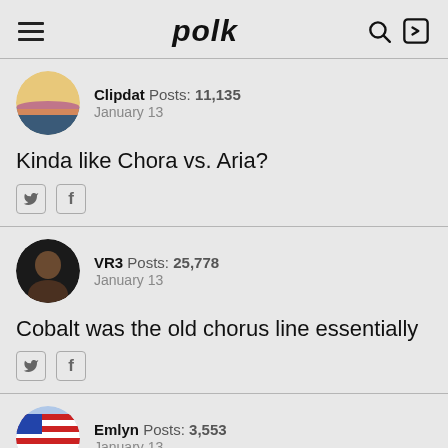polk
Clipdat  Posts: 11,135
January 13

Kinda like Chora vs. Aria?
VR3  Posts: 25,778
January 13

Cobalt was the old chorus line essentially
Emlyn  Posts: 3,553
January 13